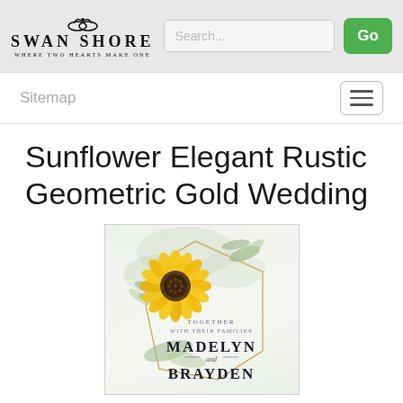Swan Shore — Where Two Hearts Make One | Search bar | Go button
Sitemap
Sunflower Elegant Rustic Geometric Gold Wedding
[Figure (illustration): Wedding invitation card with sunflower and geometric gold frame design. Text reads: TOGETHER WITH THEIR FAMILIES, MADELYN and BRAYDEN. Watercolor greenery and sunflower illustration with gold geometric polygon frame.]